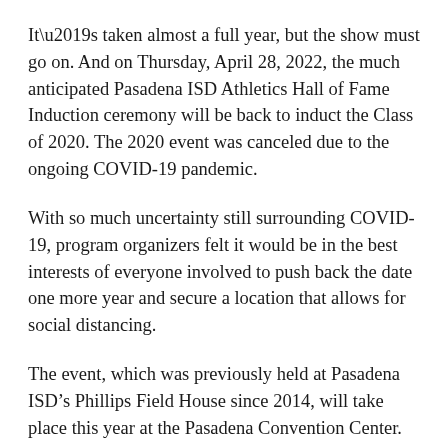It’s taken almost a full year, but the show must go on. And on Thursday, April 28, 2022, the much anticipated Pasadena ISD Athletics Hall of Fame Induction ceremony will be back to induct the Class of 2020. The 2020 event was canceled due to the ongoing COVID-19 pandemic.
With so much uncertainty still surrounding COVID-19, program organizers felt it would be in the best interests of everyone involved to push back the date one more year and secure a location that allows for social distancing.
The event, which was previously held at Pasadena ISD’s Phillips Field House since 2014, will take place this year at the Pasadena Convention Center.
“Our committee is planning a fun and safe induction banquet event for our honored inductees and guests,” said  Bill Barmore, Hall of Fame committee chairman.  “We appreciate the support and patience of our sponsors and ticket holders. This should be a great evening of fellowship